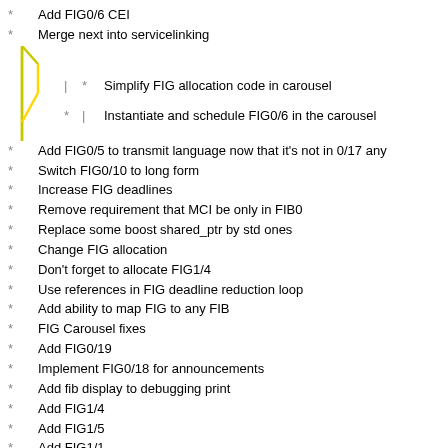Add FIG0/6 CEI
Merge next into servicelinking
Simplify FIG allocation code in carousel
Instantiate and schedule FIG0/6 in the carousel
Add FIG0/5 to transmit language now that it's not in 0/17 any
Switch FIG0/10 to long form
Increase FIG deadlines
Remove requirement that MCI be only in FIB0
Replace some boost shared_ptr by std ones
Change FIG allocation
Don't forget to allocate FIG1/4
Use references in FIG deadline reduction loop
Add ability to map FIG to any FIB
FIG Carousel fixes
Add FIG0/19
Implement FIG0/18 for announcements
Add fib display to debugging print
Add FIG1/4
Add FIG1/5
Add FIG1/1
Remove FIG carousel debugging prints
Set flag in FIG0_9, add new FIC allocation helper
Add FIG0/8 and 0/9
Start FIB1, add FIG0/8